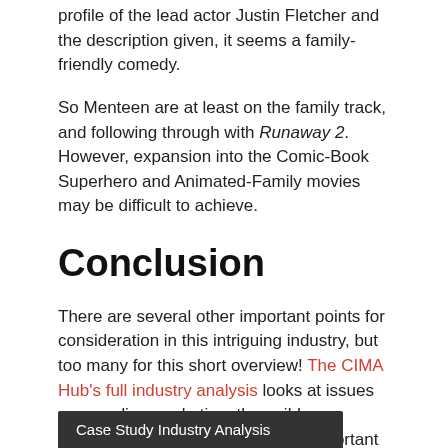profile of the lead actor Justin Fletcher and the description given, it seems a family-friendly comedy.
So Menteen are at least on the family track, and following through with Runaway 2. However, expansion into the Comic-Book Superhero and Animated-Family movies may be difficult to achieve.
Conclusion
There are several other important points for consideration in this intriguing industry, but too many for this short overview! The CIMA Hub's full industry analysis looks at issues surrounding marketing, the guilds, financing, and a number of other important challenges facing the industry and companies within it.
Case Study Industry Analysis